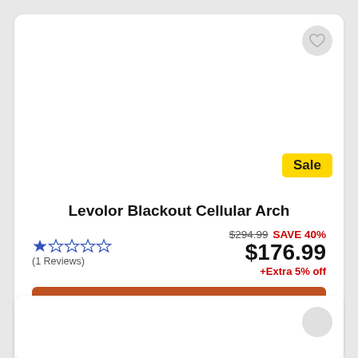[Figure (photo): Product image area for Levolor Blackout Cellular Arch (blank/white in this view)]
Sale
Levolor Blackout Cellular Arch
★☆☆☆☆ (1 Reviews)
$294.99 SAVE 40% $176.99 +Extra 5% off
Shop Now
SureFit™ Guaranteed to Fit!